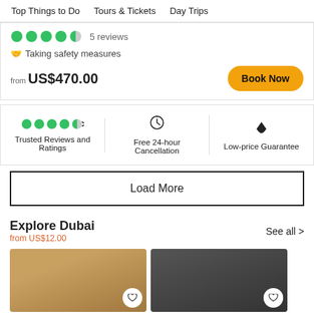Top Things to Do  Tours & Tickets  Day Trips
5 reviews
Taking safety measures
from US$470.00
Book Now
Trusted Reviews and Ratings
Free 24-hour Cancellation
Low-price Guarantee
Load More
Explore Dubai
from US$12.00
See all >